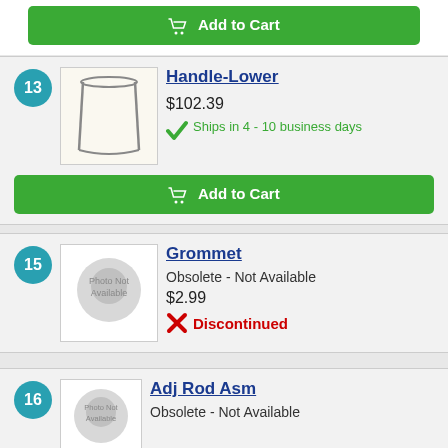[Figure (other): Green Add to Cart button at top]
13
[Figure (photo): Handle-Lower product image showing metal handle shape]
Handle-Lower
$102.39
Ships in 4 - 10 business days
[Figure (other): Green Add to Cart button]
15
[Figure (photo): Photo Not Available placeholder]
Grommet
Obsolete - Not Available
$2.99
Discontinued
16
[Figure (photo): Photo Not Available placeholder]
Adj Rod Asm
Obsolete - Not Available